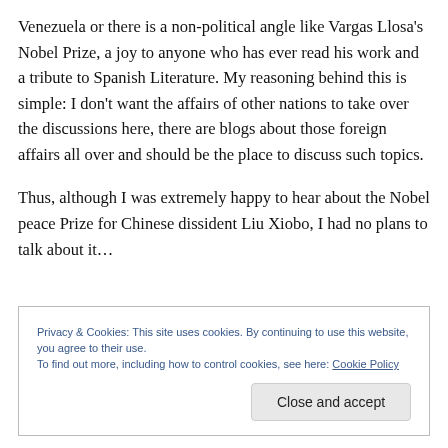Venezuela or there is a non-political angle like Vargas Llosa's Nobel Prize, a joy to anyone who has ever read his work and a tribute to Spanish Literature. My reasoning behind this is simple: I don't want the affairs of other nations to take over the discussions here, there are blogs about those foreign affairs all over and should be the place to discuss such topics.
Thus, although I was extremely happy to hear about the Nobel peace Prize for Chinese dissident Liu Xiobo, I had no plans to talk about it…
Privacy & Cookies: This site uses cookies. By continuing to use this website, you agree to their use.
To find out more, including how to control cookies, see here: Cookie Policy